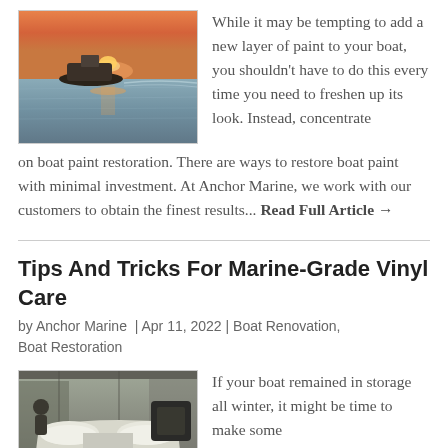[Figure (photo): Boat on water at sunset with orange and pink sky]
While it may be tempting to add a new layer of paint to your boat, you shouldn't have to do this every time you need to freshen up its look. Instead, concentrate on boat paint restoration. There are ways to restore boat paint with minimal investment. At Anchor Marine, we work with our customers to obtain the finest results... Read Full Article →
Tips And Tricks For Marine-Grade Vinyl Care
by Anchor Marine | Apr 11, 2022 | Boat Renovation, Boat Restoration
[Figure (photo): Boat interior with white vinyl seating in storage facility]
If your boat remained in storage all winter, it might be time to make some